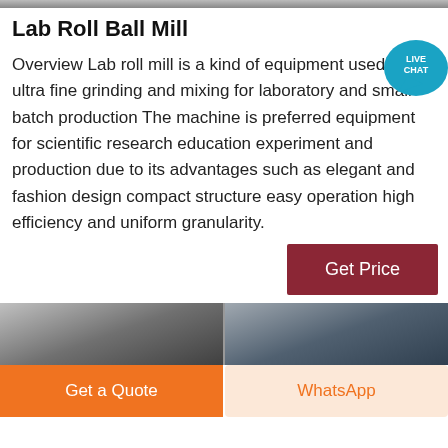[Figure (photo): Top image strip - partial industrial/factory image cropped at top]
Lab Roll Ball Mill
Overview Lab roll mill is a kind of equipment used for ultra fine grinding and mixing for laboratory and small batch production The machine is preferred equipment for scientific research education experiment and production due to its advantages such as elegant and fashion design compact structure easy operation high efficiency and uniform granularity.
[Figure (photo): Bottom image strip showing industrial/factory interior]
Get Price
Get a Quote
WhatsApp